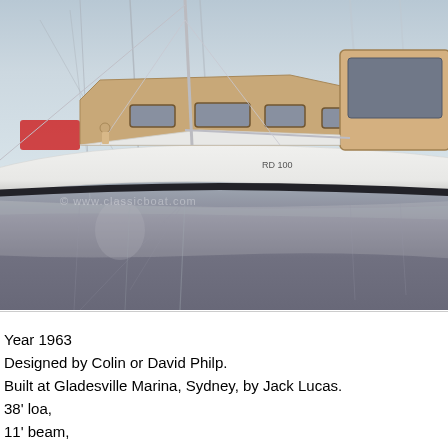[Figure (photo): Black and white photograph of a classic wooden sailboat moored at a marina, showing the hull and cabin reflected in calm water. Other boats visible in background.]
Year 1963
Designed by Colin or David Philp.
Built at Gladesville Marina, Sydney, by Jack Lucas.
38' loa,
11' beam,